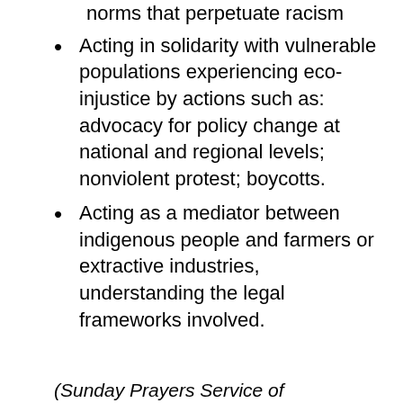norms that perpetuate racism
Acting in solidarity with vulnerable populations experiencing eco-injustice by actions such as: advocacy for policy change at national and regional levels; nonviolent protest; boycotts.
Acting as a mediator between indigenous people and farmers or extractive industries, understanding the legal frameworks involved.
(Sunday Prayers Service of